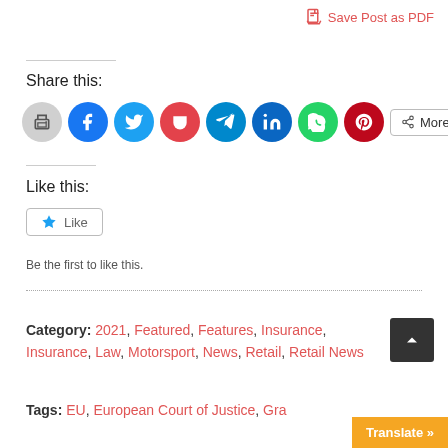Save Post as PDF
Share this:
[Figure (other): Social share icons: print, Facebook, Twitter, Pocket, Telegram, LinkedIn, WhatsApp, Pinterest, and More button]
Like this:
[Figure (other): WordPress Like button widget with star icon]
Be the first to like this.
Category: 2021, Featured, Features, Insurance, Insurance, Law, Motorsport, News, Retail, Retail News
Tags: EU, European Court of Justice, Gra